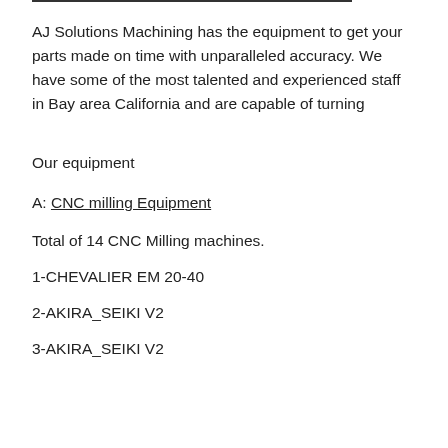AJ Solutions Machining has the equipment to get your parts made on time with unparalleled accuracy. We have some of the most talented and experienced staff in Bay area California and are capable of turning
Our equipment
A: CNC milling Equipment
Total of 14 CNC Milling machines.
1-CHEVALIER EM 20-40
2-AKIRA_SEIKI V2
3-AKIRA_SEIKI V2